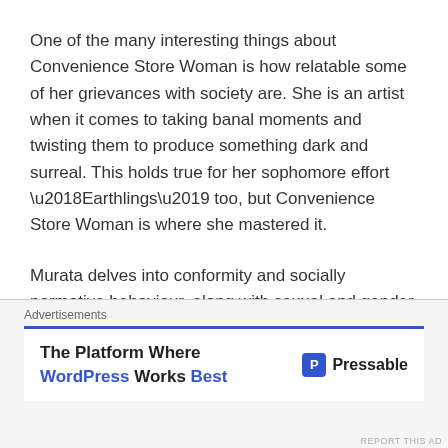One of the many interesting things about Convenience Store Woman is how relatable some of her grievances with society are. She is an artist when it comes to taking banal moments and twisting them to produce something dark and surreal. This holds true for her sophomore effort ‘Earthlings’ too, but Convenience Store Woman is where she mastered it.
Murata delves into conformity and socially normative behaviour, along with sexual and gender politics. She muses upon the moulds that adults are expected to fit. She questions them in ways that often render them absurd and confining. They are presented as a force that is exerted. There is a Japanese saying that…
Advertisements
The Platform Where WordPress Works Best   Pressable